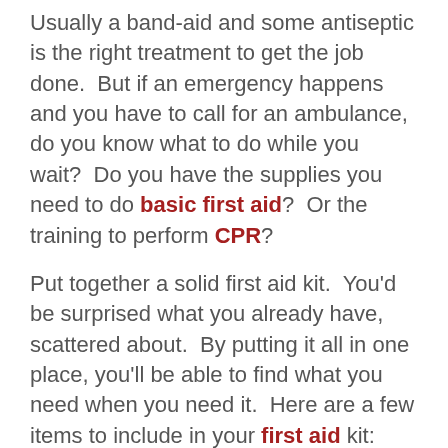Usually a band-aid and some antiseptic is the right treatment to get the job done.  But if an emergency happens and you have to call for an ambulance, do you know what to do while you wait?  Do you have the supplies you need to do basic first aid?  Or the training to perform CPR?
Put together a solid first aid kit.  You'd be surprised what you already have, scattered about.  By putting it all in one place, you'll be able to find what you need when you need it.  Here are a few items to include in your first aid kit:
Ace bandanges